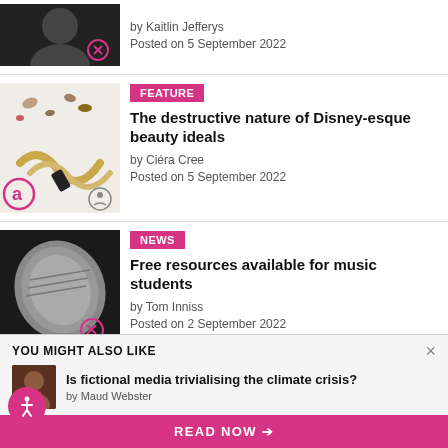by Kaitlin Jefferys
Posted on 5 September 2022
FEATURE
The destructive nature of Disney-esque beauty ideals
by Ciéra Cree
Posted on 5 September 2022
NEWS
Free resources available for music students
by Tom Inniss
Posted on 2 September 2022
YOU MIGHT ALSO LIKE
Is fictional media trivialising the climate crisis?
by Maud Webster
READ NOW